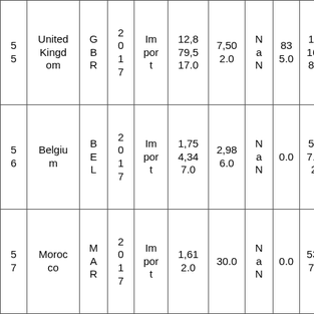| 55 | United Kingdom | GBR | 2017 | Import | 12,879,517.0 | 7,502.0 | NaN | 835.0 | 1716.81 |
| 56 | Belgium | BEL | 2017 | Import | 1,754,347.0 | 2,986.0 | NaN | 0.0 | 587.52 |
| 57 | Morocco | MAR | 2017 | Import | 1,612.0 | 30.0 | NaN | 0.0 | 53.73 |